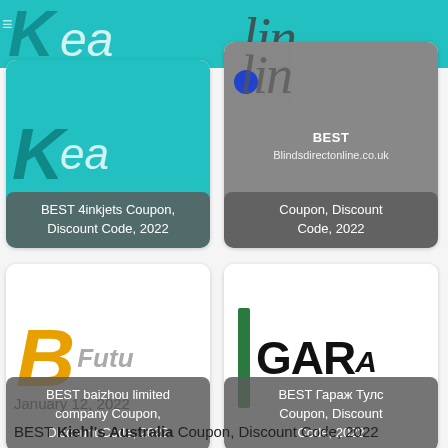[Figure (screenshot): Card grid showing coupon/discount store cards. Top-left: 4inkjets logo (teal background with italic K letters). Top-right: Blindsdirectonline.co.uk card with grey logo overlay. Bottom-left: baizhou limited company card with yellow B logo. Bottom-right: Гараж Тулс (Garage Tools) card with green bar and GARA text.]
January 12, 2022
BEST Kiehl's Australia Coupon, Discount Code, 2022